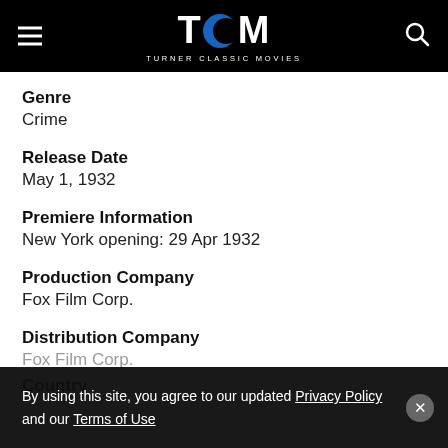TCM TURNER CLASSIC MOVIES
Genre
Crime
Release Date
May 1, 1932
Premiere Information
New York opening: 29 Apr 1932
Production Company
Fox Film Corp.
Distribution Company
Fox Film Corp.
Country
By using this site, you agree to our updated Privacy Policy and our Terms of Use